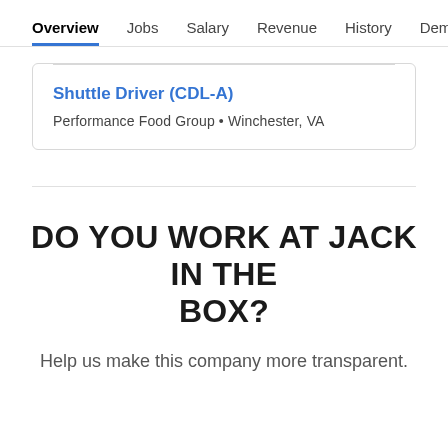Overview  Jobs  Salary  Revenue  History  Demog >
Shuttle Driver (CDL-A)
Performance Food Group • Winchester, VA
DO YOU WORK AT JACK IN THE BOX?
Help us make this company more transparent.